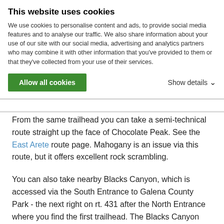mile to go. At the summit, you have a great view of the east side of Mount Rose and Church Peak, as well as Casinos below. You cannot see Lake Tahoe
Alternative Routes
This website uses cookies
We use cookies to personalise content and ads, to provide social media features and to analyse our traffic. We also share information about your use of our site with our social media, advertising and analytics partners who may combine it with other information that you've provided to them or that they've collected from your use of their services.
Allow all cookies | Show details
From the same trailhead you can take a semi-technical route straight up the face of Chocolate Peak. See the East Arete route page. Mahogany is an issue via this route, but it offers excellent rock scrambling.
You can also take nearby Blacks Canyon, which is accessed via the South Entrance to Galena County Park - the next right on rt. 431 after the North Entrance where you find the first trailhead. The Blacks Canyon trail is accessed via the Brittenbush Trail, and heads up along the creek until the unmaintained Blacks Canyon trail leaves the trail heading west, and the main trail loops